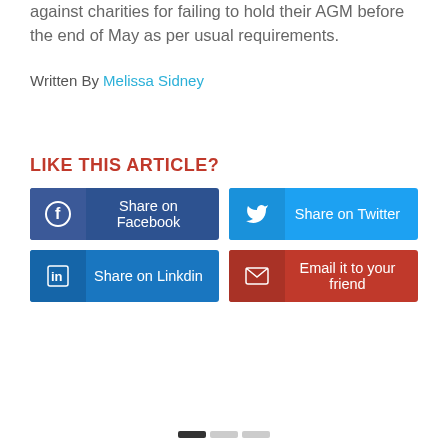against charities for failing to hold their AGM before the end of May as per usual requirements.
Written By Melissa Sidney
LIKE THIS ARTICLE?
Share on Facebook
Share on Twitter
Share on Linkdin
Email it to your friend